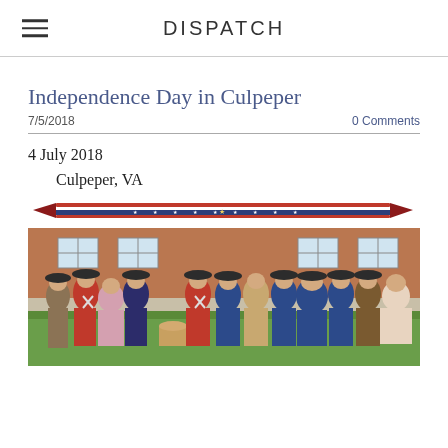DISPATCH
Independence Day in Culpeper
7/5/2018   0 Comments
4 July 2018
    Culpeper, VA
[Figure (illustration): Decorative flag divider banner with stars and stripes pattern]
[Figure (photo): Group photo of people in 18th-century American Revolutionary War era costumes, including tricorn hats and colonial military uniforms, standing in front of a brick building]